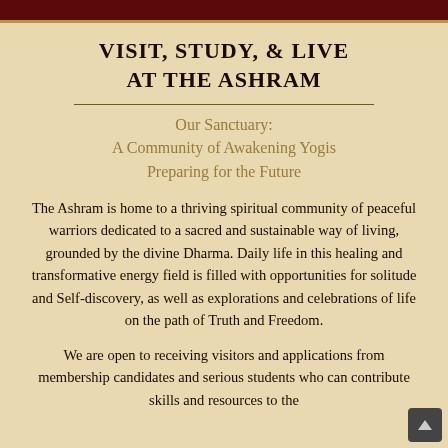Visit, Study, & Live at the Ashram
Our Sanctuary: A Community of Awakening Yogis Preparing for the Future
The Ashram is home to a thriving spiritual community of peaceful warriors dedicated to a sacred and sustainable way of living, grounded by the divine Dharma. Daily life in this healing and transformative energy field is filled with opportunities for solitude and Self-discovery, as well as explorations and celebrations of life on the path of Truth and Freedom.
We are open to receiving visitors and applications from membership candidates and serious students who can contribute skills and resources to the